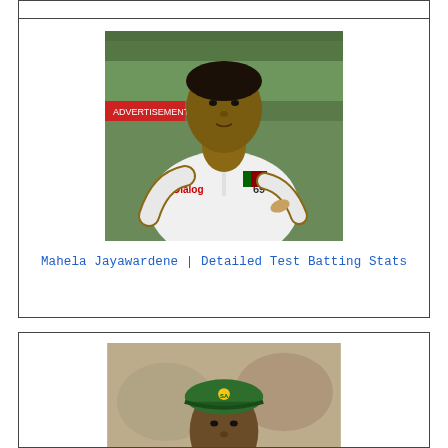[Figure (photo): Photo of Mahela Jayawardene in white Sri Lanka cricket Test jersey with 'Dialog' sponsor logo and number 69, Sri Lanka flag patch on sleeve, standing on cricket ground with green stands in background]
Mahela Jayawardene | Detailed Test Batting Stats
[Figure (photo): Partial photo of a cricket player wearing a green South Africa cricket cap, face partially visible, blurred background]